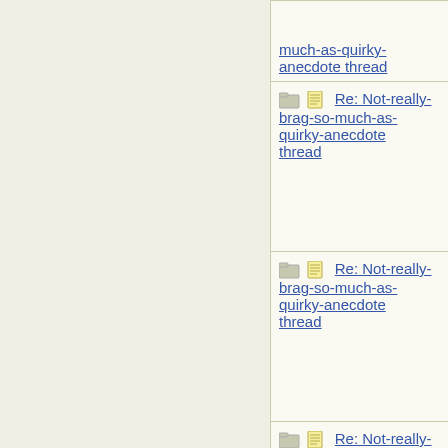| Thread | Author |
| --- | --- |
| Re: Not-really-brag-so-much-as-quirky-anecdote thread | eco21268 |
| Re: Not-really-brag-so-much-as-quirky-anecdote thread | chay |
| Re: Not-really-brag-so-much-as-quirky-anecdote thread | St. Marga |
| Re: Not-really-brag-so-much-as-quirky-anecdote thread | ultramarin |
| Re: Not-really-brag-so-much-as-quirky-anecdote thread | Ivy |
| Re: Not-really-brag-so-much-as-quirky-anecdote thread | suevv |